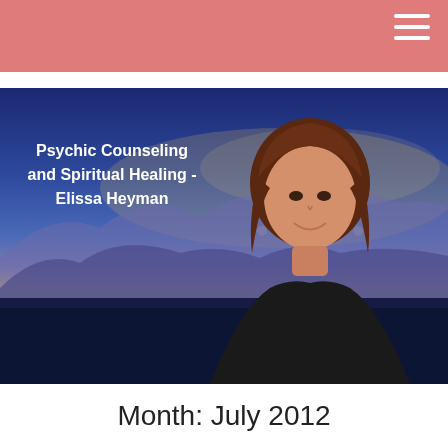[Figure (photo): Hero banner image showing a smiling middle-aged woman with brown hair against a scenic background of mountains, sky, and water at dusk/sunset. The image has a blue and purple color palette with warm golden tones on the horizon.]
Psychic Counseling and Spiritual Healing - Elissa Heyman
Month: July 2012